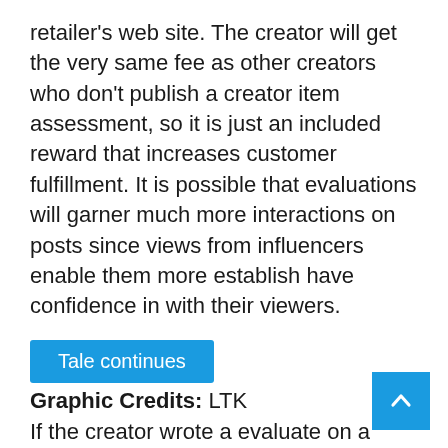retailer's web site. The creator will get the very same fee as other creators who don't publish a creator item assessment, so it is just an included reward that increases customer fulfillment. It is possible that evaluations will garner much more interactions on posts since views from influencers enable them more establish have confidence in with their viewers.
Tale continues
If the creator wrote a evaluate on a products, a purchaser will see the evaluation part slide up right after clicking on it (see photograph beneath).
Graphic Credits: LTK